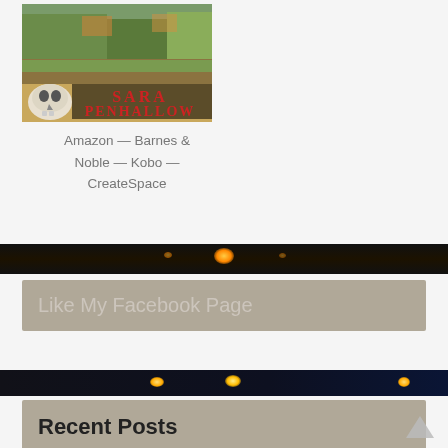[Figure (illustration): Book cover image showing a cornfield with autumn trees in the background and a skull in the lower left. Author name 'SARA PENHALLOW' displayed in red text.]
Amazon — Barnes & Noble — Kobo — CreateSpace
[Figure (photo): Dark banner with warm glowing light in center, night scene.]
Like My Facebook Page
[Figure (photo): Dark night banner with street lights glowing, blue sky tones at right.]
Recent Posts